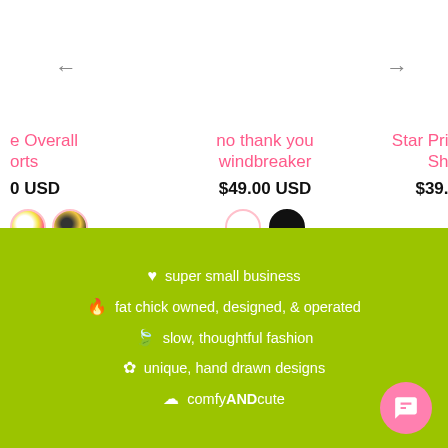←
→
e Overall
orts
0 USD
no thank you
windbreaker
$49.00 USD
Star Prin
Sho
$39.0
♥ super small business
🔥 fat chick owned, designed, & operated
🍃 slow, thoughtful fashion
❋ unique, hand drawn designs
☁ comfy AND cute